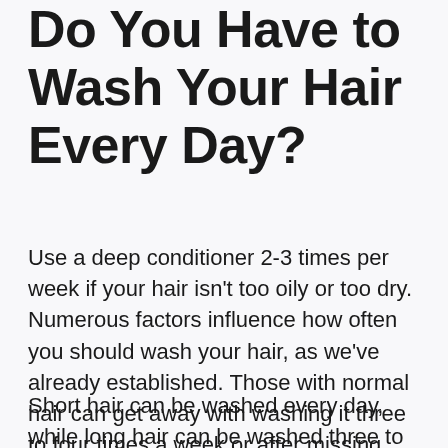Do You Have to Wash Your Hair Every Day?
Use a deep conditioner 2-3 times per week if your hair isn't too oily or too dry. Numerous factors influence how often you should wash your hair, as we've already established. Those with normal hair can get away with washing it three to four times a week or after missing one day of the week without harming it too much.
Short hair can be washed every day, while long hair can be washed three to four times per week. In order to keep